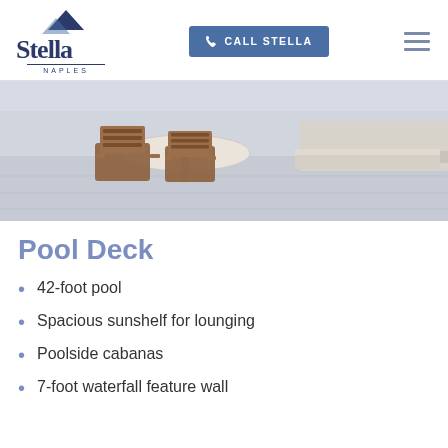CALL STELLA
[Figure (logo): Stella Naples logo with mountain graphic above the text and NAPLES below]
[Figure (photo): Outdoor pool deck area with wooden chairs around a table and a low bench/ledge in the background, light stone flooring]
Pool Deck
42-foot pool
Spacious sunshelf for lounging
Poolside cabanas
7-foot waterfall feature wall